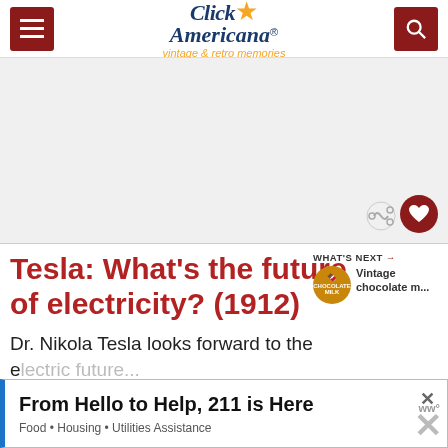Click Americana — vintage & retro memories
[Figure (other): Large blank/white image placeholder area]
Tesla: What's the future of electricity? (1912)
WHAT'S NEXT → Vintage chocolate m...
Dr. Nikola Tesla looks forward to the e...
[Figure (other): Advertisement banner: From Hello to Help, 211 is Here. Food • Housing • Utilities Assistance]